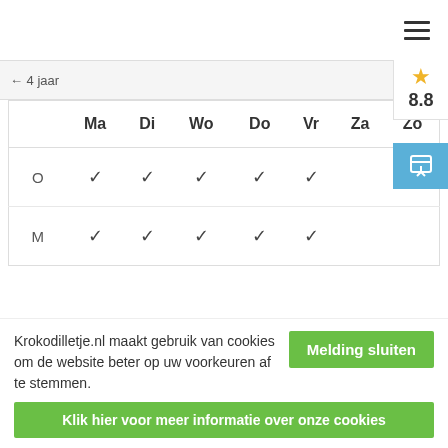[Figure (screenshot): Hamburger menu icon (three horizontal lines) in top right corner]
← 4 jaar
[Figure (other): Star rating badge showing gold star and 8.8 score]
[Figure (other): Blue share/chat button icon]
|  | Ma | Di | Wo | Do | Vr | Za | Zo |
| --- | --- | --- | --- | --- | --- | --- | --- |
| O | ✓ | ✓ | ✓ | ✓ | ✓ |  |  |
| M | ✓ | ✓ | ✓ | ✓ | ✓ |  |  |
Koekje erbij?
Krokodilletje.nl maakt gebruik van cookies om de website beter op uw voorkeuren af te stemmen.
Melding sluiten
Klik hier voor meer informatie over onze cookies